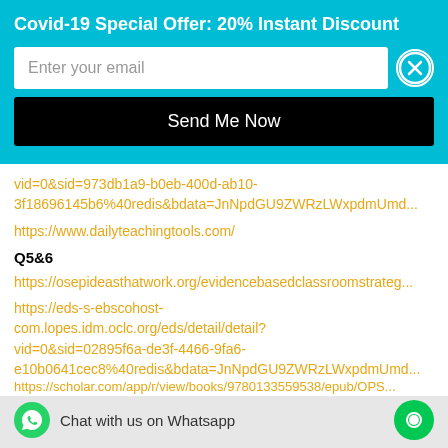[Figure (screenshot): Covid-19 Special Offer popup banner with teal background, email input field, close button, and Send Me Now button]
vid=0&sid=973db1a9-b0eb-400d-ab10-3f18696145b6%40redis&bdata=JnNpdGU9ZWRzLWxpdmUmd...
https://www.dailyteachingtools.com/
Q5&6
https://osepideasthatwork.org/evidencebasedclassroomstrateg...
https://eds-s-ebscohost-com.lopes.idm.oclc.org/eds/detail/detail?vid=0&sid=02895f6a-de3f-4466-9fa6-e10b0641cec8%40redis&bdata=JnNpdGU9ZWRzLWxpdmUmd...
[Figure (screenshot): Whatsapp chat bar at bottom with green chat bubble icon and truncated URL]
https://scholar.com/app/r/view/books/9780133559538/epub/OPS...